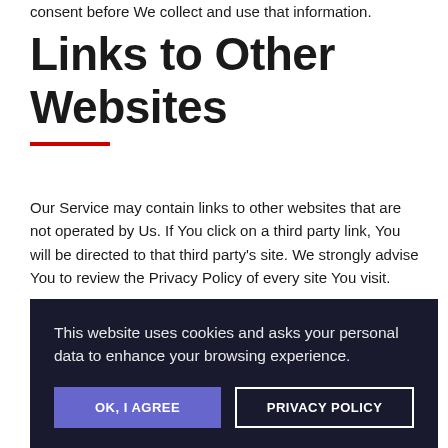consent before We collect and use that information.
Links to Other Websites
Our Service may contain links to other websites that are not operated by Us. If You click on a third party link, You will be directed to that third party’s site. We strongly advise You to review the Privacy Policy of every site You visit.
We have no control over and assume no responsibility for the content, privacy policies or practices of any third party s…
[Figure (screenshot): Cookie consent banner overlay with dark background reading 'This website uses cookies and asks your personal data to enhance your browsing experience.' with two buttons: 'OK, I AGREE' (purple) and 'PRIVACY POLICY' (outlined white)]